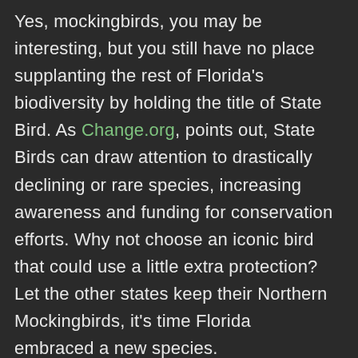Yes, mockingbirds, you may be interesting, but you still have no place supplanting the rest of Florida's biodiversity by holding the title of State Bird. As Change.org, points out, State Birds can draw attention to drastically declining or rare species, increasing awareness and funding for conservation efforts. Why not choose an iconic bird that could use a little extra protection? Let the other states keep their Northern Mockingbirds, it's time Florida embraced a new species.